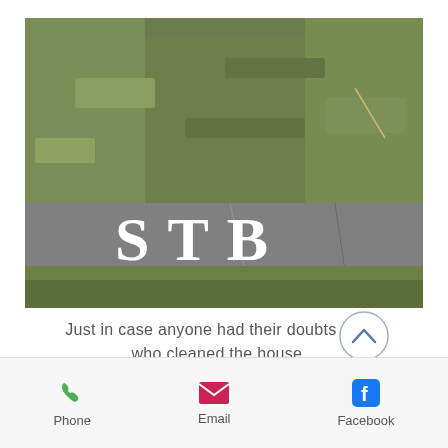[Figure (photo): Photo of a curb/kerb with 'STB' painted in white letters on the grey concrete, surrounded by green grass.]
Just in case anyone had their doubts about who cleaned the house...
[Figure (other): A circular scroll-up / chevron-up button icon with a blue border and upward arrow.]
Phone  Email  Facebook